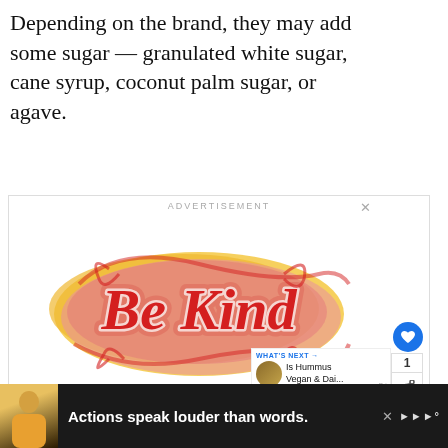Depending on the brand, they may add some sugar — granulated white sugar, cane syrup, coconut palm sugar, or agave.
[Figure (screenshot): Advertisement box with 'ADVERTISEMENT' label, containing a decorative 'Be Kind' typographic illustration in red, pink, and yellow/orange colors. UI overlays include a close X button, heart/like button (blue circle), count of 1, share button, privacy/terms text, and a 'WHAT'S NEXT' panel with 'Is Hummus Vegan & Dai...' text and thumbnail.]
[Figure (screenshot): Dark bottom banner advertisement with a person graphic on left, text 'Actions speak louder than words.' in white bold, close X button, and brand logo on right.]